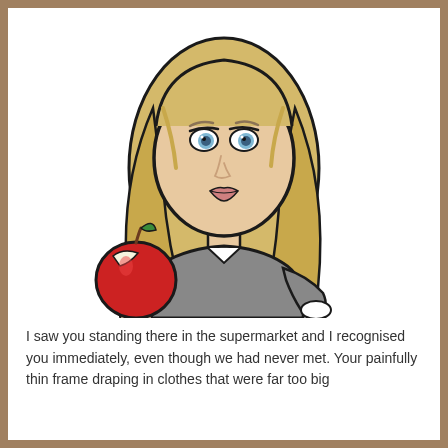[Figure (illustration): Cartoon bitmoji-style illustration of a blonde woman with blue eyes wearing a grey long-sleeve top, holding a red apple with a bite taken out of it.]
I saw you standing there in the supermarket and I recognised you immediately, even though we had never met. Your painfully thin frame draping in clothes that were far too big